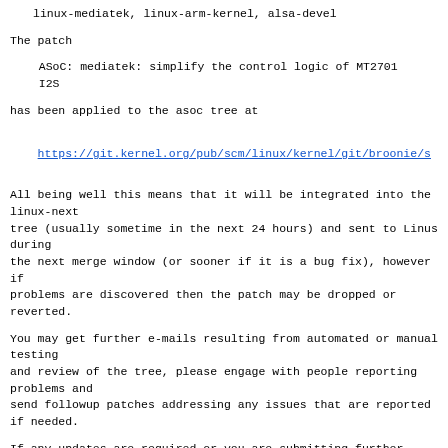linux-mediatek, linux-arm-kernel, alsa-devel
The patch
ASoC: mediatek: simplify the control logic of MT2701 I2S
has been applied to the asoc tree at
https://git.kernel.org/pub/scm/linux/kernel/git/broonie/s
All being well this means that it will be integrated into the linux-next
tree (usually sometime in the next 24 hours) and sent to Linus during
the next merge window (or sooner if it is a bug fix), however if
problems are discovered then the patch may be dropped or reverted.
You may get further e-mails resulting from automated or manual testing
and review of the tree, please engage with people reporting problems and
send followup patches addressing any issues that are reported if needed.
If any updates are required or you are submitting further changes they
should be sent as incremental updates against current